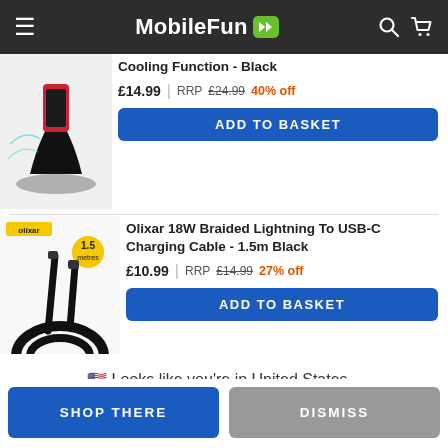MobileFun
[Figure (photo): Product image of a phone charging stand with cooling function in black]
Cooling Function - Black
£14.99 | RRP £24.99 40% off
ADD TO BASKET
[Figure (photo): Olixar 18W Braided Lightning To USB-C Charging Cable - 1.5m Black product image with Olixar brand badge]
Olixar 18W Braided Lightning To USB-C Charging Cable - 1.5m Black
£10.99 | RRP £14.99 27% off
ADD TO BASKET
Looks like you're in United States...
SHOP THERE
DISMISS